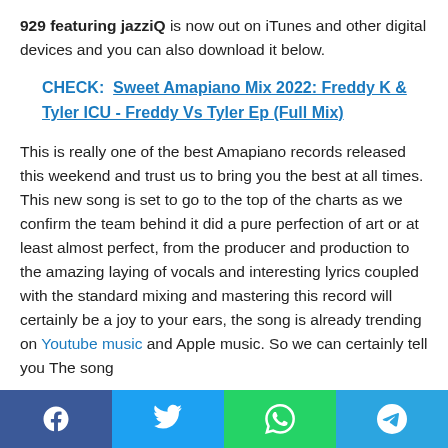929 featuring jazziQ is now out on iTunes and other digital devices and you can also download it below.
CHECK: Sweet Amapiano Mix 2022: Freddy K & Tyler ICU - Freddy Vs Tyler Ep (Full Mix)
This is really one of the best Amapiano records released this weekend and trust us to bring you the best at all times. This new song is set to go to the top of the charts as we confirm the team behind it did a pure perfection of art or at least almost perfect, from the producer and production to the amazing laying of vocals and interesting lyrics coupled with the standard mixing and mastering this record will certainly be a joy to your ears, the song is already trending on Youtube music and Apple music. So we can certainly tell you The song